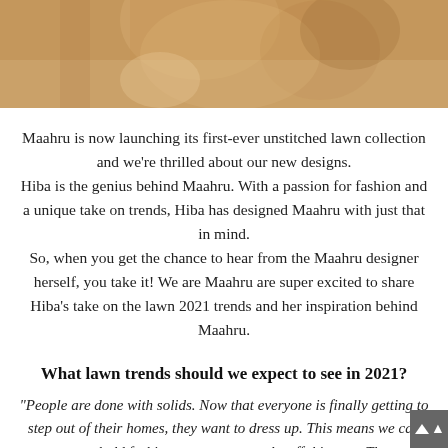[Figure (photo): Top portion of a woman wearing a colorful patterned lawn outfit, seated on a light-colored sofa]
Maahru is now launching its first-ever unstitched lawn collection and we're thrilled about our new designs. Hiba is the genius behind Maahru. With a passion for fashion and a unique take on trends, Hiba has designed Maahru with just that in mind. So, when you get the chance to hear from the Maahru designer herself, you take it! We are Maahru are super excited to share Hiba's take on the lawn 2021 trends and her inspiration behind Maahru.
What lawn trends should we expect to see in 2021?
"People are done with solids. Now that everyone is finally getting to step out of their homes, they want to dress up. This means we can expect some bold fashion statements to take off this year. The world doesn't want to play safe with their fashion choices at this point"